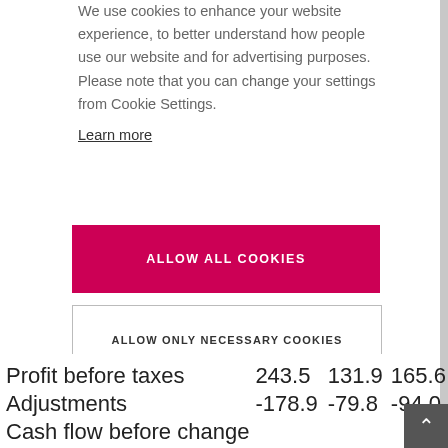We use cookies to enhance your website experience, to better understand how people use our website and for advertising purposes. Please note that you can change your settings from Cookie Settings.
Learn more
ALLOW ALL COOKIES
ALLOW ONLY NECESSARY COOKIES
COOKIE SETTINGS
|  |  |  |  |
| --- | --- | --- | --- |
| Profit before taxes | 243.5 | 131.9 | 165.6 |
| Adjustments | -178.9 | -79.8 | -94.0 |
| Cash flow before change |  |  |  |